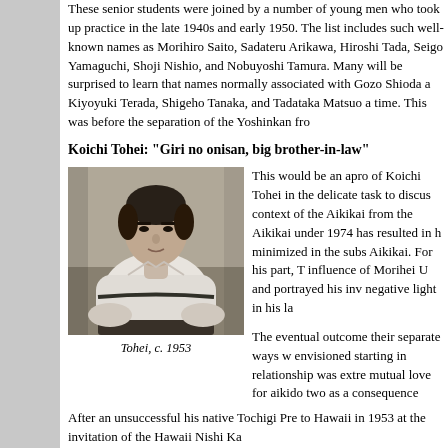These senior students were joined by a number of young men who took up practice in the late 1940s and early 1950s. The list includes such well-known names as Morihiro Saito, Sadateru Arikawa, Hiroshi Tada, Seigo Yamaguchi, Shoji Nishio, and Nobuyoshi Tamura. Many will be surprised to learn that names normally associated with Gozo Shioda as Kiyoyuki Terada, Shigeho Tanaka, and Tadataka Matsuo at time. This was before the separation of the Yoshinkan from
Koichi Tohei: "Giri no onisan, big brother-in-law"
[Figure (photo): Black and white portrait photograph of Koichi Tohei seated in a formal aikido pose wearing a white gi and black hakama, circa 1953.]
Tohei, c. 1953
This would be an apro of Koichi Tohei in the delicate task to discus context of the Aikikai from the Aikikai under 1974 has resulted in h minimized in the subs Aikikai. For his part, T influence of Morihei U and portrayed his inv negative light in his la
The eventual outcome their separate ways w envisioned starting in relationship was extre mutual love for aikido two as a consequence
After an unsuccessful his native Tochigi Pre to Hawaii in 1953 at the invitation of the Hawaii Nishi Ka